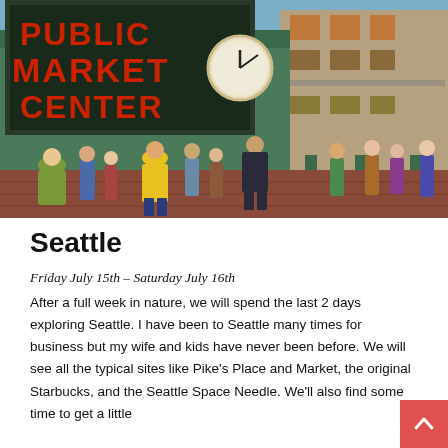[Figure (photo): Photograph of Pike Place Public Market Center in Seattle. The large red sign reads PUBLIC MARKET CENTER with a clock, and a green sign reads FARMERS MARKET. A crowd of people walks in front of the market on a sunny day.]
Seattle
Friday July 15th – Saturday July 16th
After a full week in nature, we will spend the last 2 days exploring Seattle. I have been to Seattle many times for business but my wife and kids have never been before. We will see all the typical sites like Pike's Place and Market, the original Starbucks, and the Seattle Space Needle. We'll also find some time to get a little